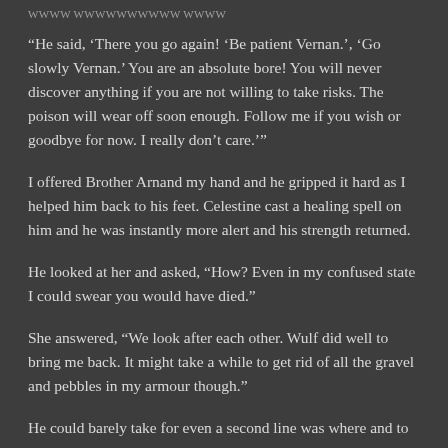WWWW WWWWWWWWWW WWWW
“He said, ‘There you go again! ‘Be patient Vernan.’, ‘Go slowly Vernan.’ You are an absolute bore! You will never discover anything if you are not willing to take risks. The poison will wear off soon enough. Follow me if you wish or goodbye for now. I really don’t care.’”
I offered Brother Arnand my hand and he gripped it hard as I helped him back to his feet. Celestine cast a healing spell on him and he was instantly more alert and his strength returned.
He looked at her and asked, “How? Even in my confused state I could swear you would have died.”
She answered, “We look after each other. Wulf did well to bring me back. It might take a while to get rid of all the gravel and pebbles in my armour though.”
He could barely take for even a second line was where and to